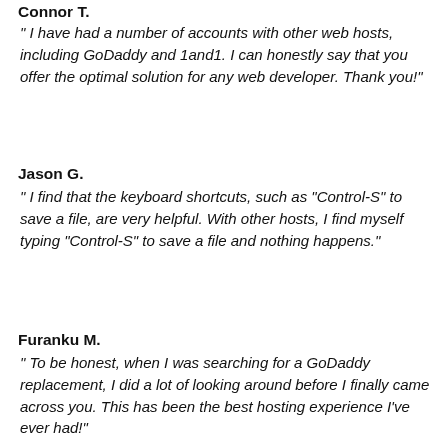Connor T.
" I have had a number of accounts with other web hosts, including GoDaddy and 1and1. I can honestly say that you offer the optimal solution for any web developer. Thank you!"
Jason G.
" I find that the keyboard shortcuts, such as "Control-S" to save a file, are very helpful. With other hosts, I find myself typing "Control-S" to save a file and nothing happens."
Furanku M.
" To be honest, when I was searching for a GoDaddy replacement, I did a lot of looking around before I finally came across you. This has been the best hosting experience I've ever had!"
Robert H.
" Wanted to add how beautiful the site is now - so clear and easy to navigate - it;s indeed like Heaven on Earth. But don`t ascend yet - I need you here to